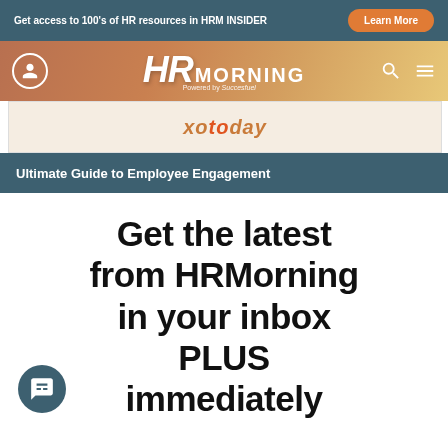Get access to 100's of HR resources in HRM INSIDER
[Figure (logo): HRMorning logo with tagline 'Powered by Succesfuel']
[Figure (screenshot): xoToday banner image]
Ultimate Guide to Employee Engagement
Get the latest from HRMorning in your inbox PLUS immediately